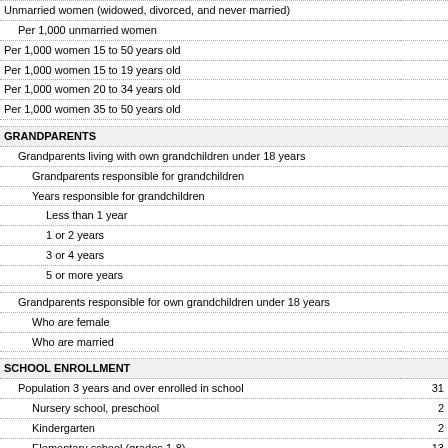| Subject | Value |
| --- | --- |
| Unmarried women (widowed, divorced, and never married) |  |
| Per 1,000 unmarried women |  |
| Per 1,000 women 15 to 50 years old |  |
| Per 1,000 women 15 to 19 years old |  |
| Per 1,000 women 20 to 34 years old |  |
| Per 1,000 women 35 to 50 years old |  |
| GRANDPARENTS |  |
| Grandparents living with own grandchildren under 18 years |  |
| Grandparents responsible for grandchildren |  |
| Years responsible for grandchildren |  |
| Less than 1 year |  |
| 1 or 2 years |  |
| 3 or 4 years |  |
| 5 or more years |  |
| Grandparents responsible for own grandchildren under 18 years |  |
| Who are female |  |
| Who are married |  |
| SCHOOL ENROLLMENT |  |
| Population 3 years and over enrolled in school | 31 |
| Nursery school, preschool | 2 |
| Kindergarten | 2 |
| Elementary school (grades 1-8) | 13 |
| High school (grades 9-12) | 5 |
| College or graduate school | 7 |
| EDUCATIONAL ATTAINMENT |  |
| Population 25 years and over | 61 |
| Less than 9th grade | 1 |
| 9th to 12th grade, no diploma | 1 |